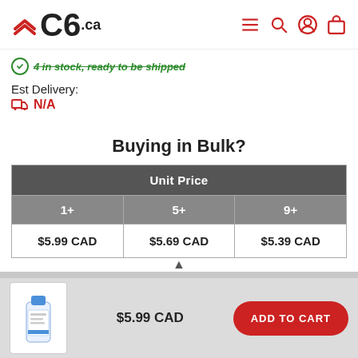C6.ca
4 in stock, ready to be shipped
Est Delivery:
N/A
Buying in Bulk?
| 1+ | 5+ | 9+ |
| --- | --- | --- |
| $5.99 CAD | $5.69 CAD | $5.39 CAD |
$5.99 CAD
ADD TO CART